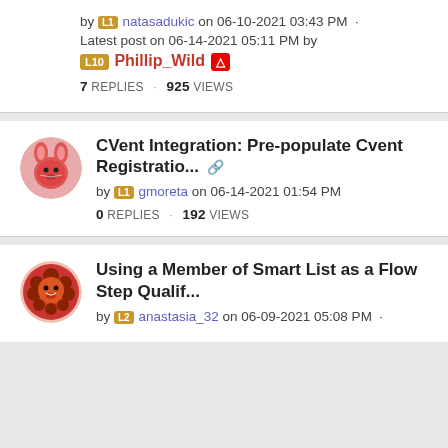by [L1] natasadukic on 06-10-2021 03:43 PM · Latest post on 06-14-2021 05:11 PM by [L10] Phillip_Wild [Adobe] 7 REPLIES · 925 VIEWS
CVent Integration: Pre-populate Cvent Registratio...
by [L1] gmoreta on 06-14-2021 01:54 PM 0 REPLIES · 192 VIEWS
Using a Member of Smart List as a Flow Step Qualif...
by [L2] anastasia_32 on 06-09-2021 05:08 PM ·